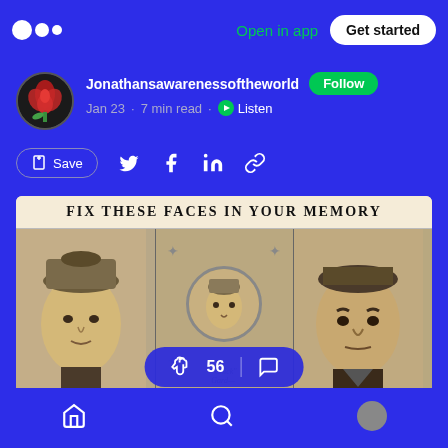Open in app | Get started
Jonathansawarenessoftheworld  Follow
Jan 23 · 7 min read · Listen
Save
[Figure (screenshot): Old newspaper clipping with heading 'FIX THESE FACES IN YOUR MEMORY' showing three vintage baseball player portraits in sepia tone, with a clap count overlay showing 56 claps]
Home navigation | Search | Profile